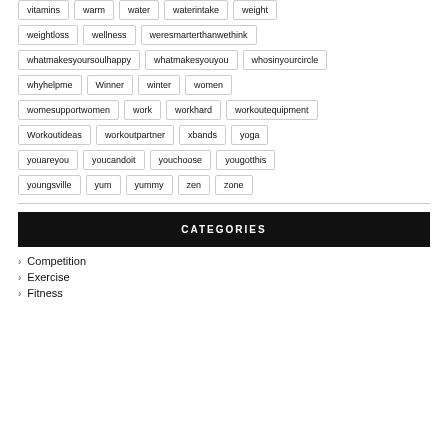vitamins, warm, water, waterintake, weight
weightloss, wellness, weresmarterthanwethink
whatmakesyoursoulhappy, whatmakesyouyou, whosinyourcircle
whyhelpme, Winner, winter, women
womesupportwomen, work, workhard, workoutequipment
Workoutideas, workoutpartner, xbands, yoga
youareyou, youcandoit, youchoose, yougotthis
youngsville, yum, yummy, zen, zone
CATEGORIES
Competition
Exercise
Fitness